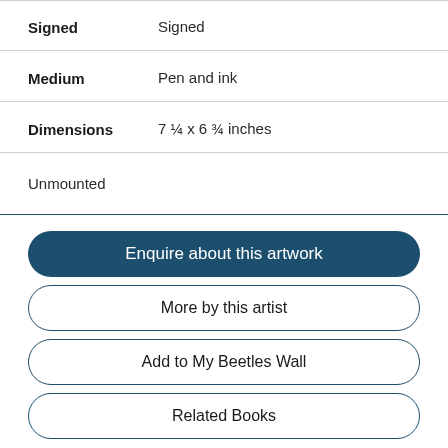Signed: Signed
Medium: Pen and ink
Dimensions: 7 ¼ x 6 ¾ inches
Unmounted
Enquire about this artwork
More by this artist
Add to My Beetles Wall
Related Books